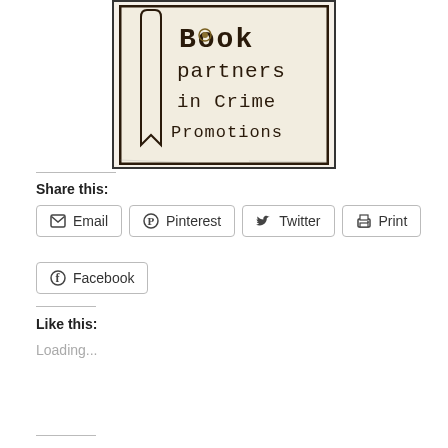[Figure (logo): Book Partners in Crime Promotions logo — black decorative text on aged cream background with dark border]
Share this:
Email | Pinterest | Twitter | Print | Facebook
Like this:
Loading...